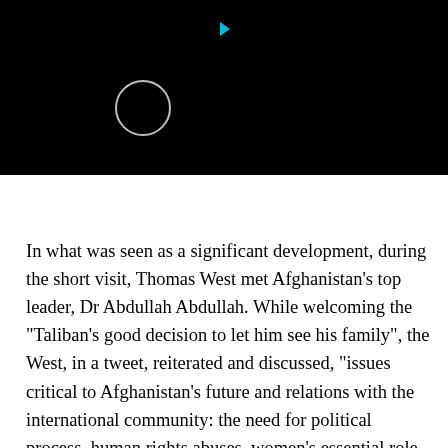[Figure (screenshot): Black video player area with a circular play button outline on the left and a small cyan/teal play triangle icon at the top center]
In what was seen as a significant development, during the short visit, Thomas West met Afghanistan’s top leader, Dr Abdullah Abdullah. While welcoming the “Taliban’s good decision to let him see his family”, the West, in a tweet, reiterated and discussed, “issues critical to Afghanistan’s future and relations with the international community: the need for political process, human rights abuses, women’s essential role in society, humanitarian situation, and terrorism threats.”